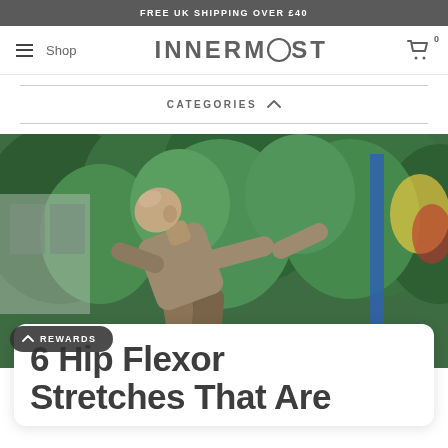FREE UK SHIPPING OVER £40
[Figure (logo): INNERMOST brand logo with stylized O in center, hamburger menu icon and Shop link on left, shopping cart icon with 0 badge on right]
CATEGORIES ^
[Figure (photo): Man in tan/brown shirt leaning back and stretching, surrounded by lush tropical green plants and foliage, outdoor setting]
6 Hip Flexor Stretches That Are